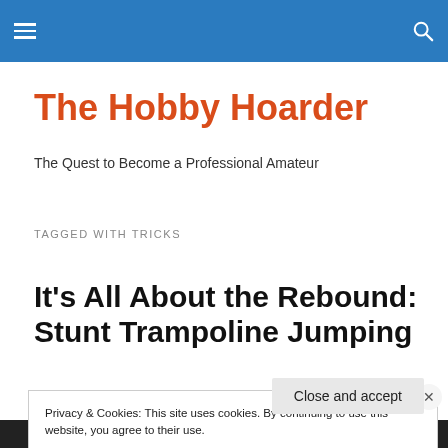The Hobby Hoarder — navigation header with hamburger menu and search icon
The Hobby Hoarder
The Quest to Become a Professional Amateur
TAGGED WITH TRICKS
It's All About the Rebound: Stunt Trampoline Jumping
Privacy & Cookies: This site uses cookies. By continuing to use this website, you agree to their use.
To find out more, including how to control cookies, see here: Cookie Policy
Close and accept